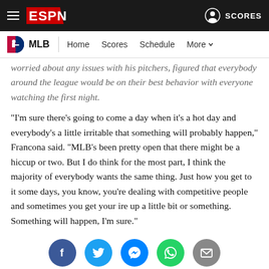ESPN — MLB | Home Scores Schedule More
worried about any issues with his pitchers, figured that everybody around the league would be on their best behavior with everyone watching the first night.
"I'm sure there's going to come a day when it's a hot day and everybody's a little irritable that something will probably happen," Francona said. "MLB's been pretty open that there might be a hiccup or two. But I do think for the most part, I think the majority of everybody wants the same thing. Just how you get to it some days, you know, you're dealing with competitive people and sometimes you get your ire up a little bit or something. Something will happen, I'm sure."
[Figure (other): Social share buttons: Facebook, Twitter, Messenger, WhatsApp, Email]